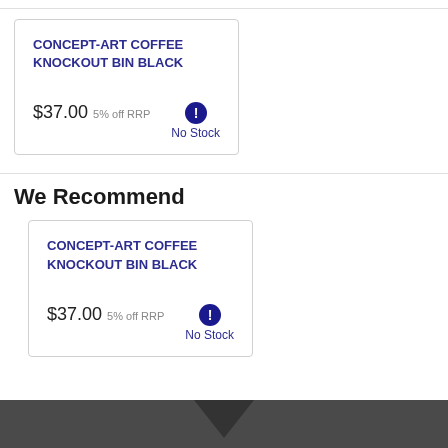CONCEPT-ART COFFEE KNOCKOUT BIN BLACK — $37.00 5% off RRP — No Stock
We Recommend
CONCEPT-ART COFFEE KNOCKOUT BIN BLACK — $37.00 5% off RRP — No Stock